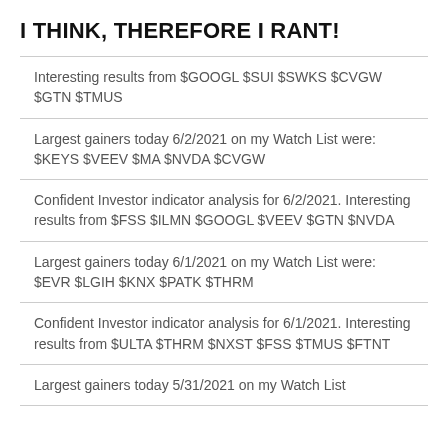I THINK, THEREFORE I RANT!
Interesting results from $GOOGL $SUI $SWKS $CVGW $GTN $TMUS
Largest gainers today 6/2/2021 on my Watch List were: $KEYS $VEEV $MA $NVDA $CVGW
Confident Investor indicator analysis for 6/2/2021. Interesting results from $FSS $ILMN $GOOGL $VEEV $GTN $NVDA
Largest gainers today 6/1/2021 on my Watch List were: $EVR $LGIH $KNX $PATK $THRM
Confident Investor indicator analysis for 6/1/2021. Interesting results from $ULTA $THRM $NXST $FSS $TMUS $FTNT
Largest gainers today 5/31/2021 on my Watch List